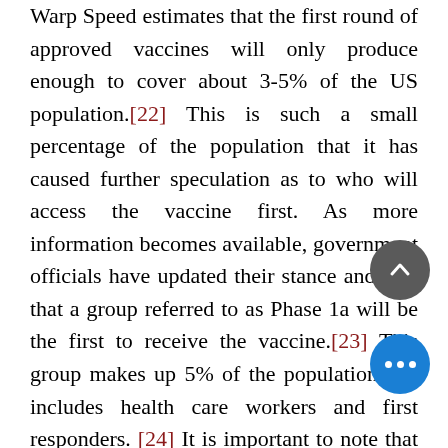Warp Speed estimates that the first round of approved vaccines will only produce enough to cover about 3-5% of the US population.[22] This is such a small percentage of the population that it has caused further speculation as to who will access the vaccine first. As more information becomes available, government officials have updated their stance and said that a group referred to as Phase 1a will be the first to receive the vaccine.[23] This group makes up 5% of the population and includes health care workers and first responders. [24] It is important to note that while front line health care professionals and first responders are vital to society's survival during this pandemic, possible that there will be backlash for